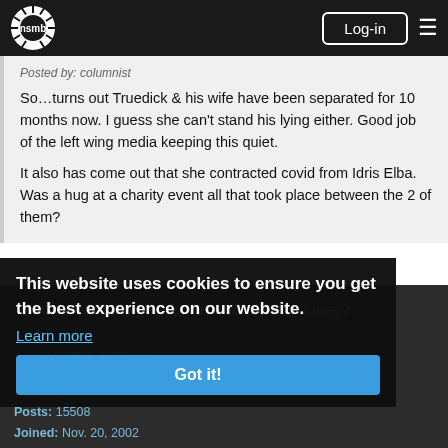nsmb — Log-in
Posted by: columnist

So…turns out Truedick & his wife have been separated for 10 months now. I guess she can't stand his lying either. Good job of the left wing media keeping this quiet.

It also has come out that she contracted covid from Idris Elba. Was a hug at a charity event all that took place between the 2 of them?
That's some juicy gossip but who the fuck cares?
Jan. 24, 2021, 9:57 a.m.
XXX_or
Posts: 15508
Joined: Nov. 20, 2002
This website uses cookies to ensure you get the best experience on our website.
Learn more
Got it!
Trudeau is still anyone but harper and the last 2